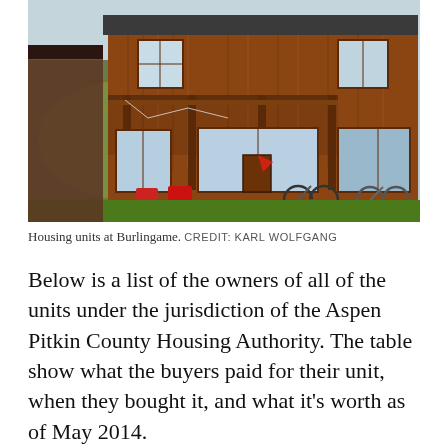[Figure (photo): Exterior of a two-story wood-sided housing building at Burlingame. Red chairs and bicycles visible in front. Second-floor balcony with posts. Green lawn and trees in background.]
Housing units at Burlingame. CREDIT: KARL WOLFGANG
Below is a list of the owners of all of the units under the jurisdiction of the Aspen Pitkin County Housing Authority. The table show what the buyers paid for their unit, when they bought it, and what it's worth as of May 2014.